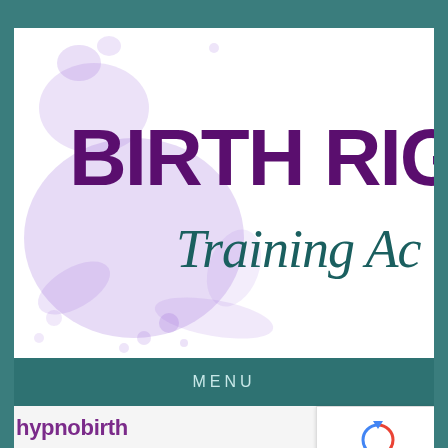[Figure (logo): Birth Right Training Academy logo with purple watercolor splash background, bold dark purple 'BIRTH RIG' text and teal italic 'Training Ac' script text (partially cropped)]
MENU
[Figure (other): Google reCAPTCHA widget with spinning arrow logo and Privacy/Terms links]
hypnobirth